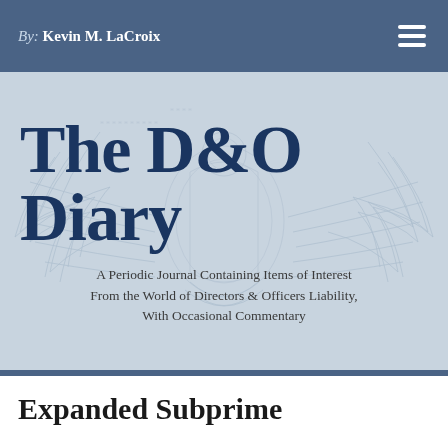By: Kevin M. LaCroix
The D&O Diary
A Periodic Journal Containing Items of Interest From the World of Directors & Officers Liability, With Occasional Commentary
Expanded Subprime